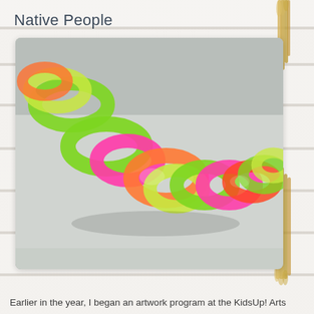Native People
[Figure (photo): Close-up photograph of a colorful paper chain craft made of interlocking loops in neon green, pink, orange, and yellow-green colors, arranged in a snake-like pattern on a light gray surface.]
Earlier in the year, I began an artwork program at the KidsUp! Arts